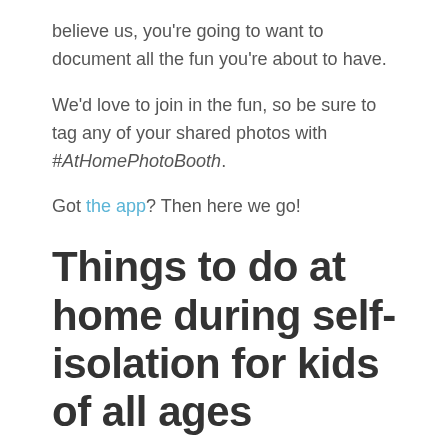believe us, you're going to want to document all the fun you're about to have.
We'd love to join in the fun, so be sure to tag any of your shared photos with #AtHomePhotoBooth.
Got the app? Then here we go!
Things to do at home during self-isolation for kids of all ages